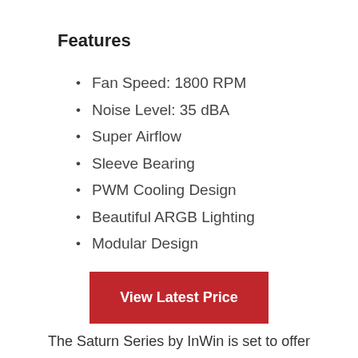Features
Fan Speed: 1800 RPM
Noise Level: 35 dBA
Super Airflow
Sleeve Bearing
PWM Cooling Design
Beautiful ARGB Lighting
Modular Design
[Figure (other): Red button labeled 'View Latest Price']
The Saturn Series by InWin is set to offer